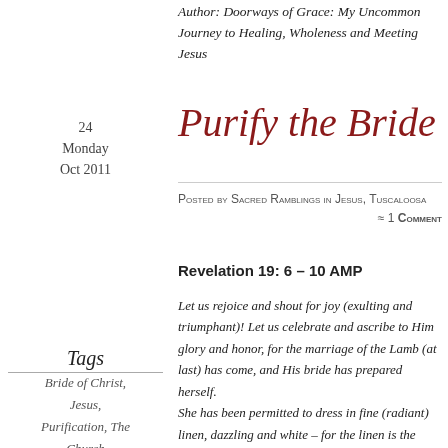Author: Doorways of Grace: My Uncommon Journey to Healing, Wholeness and Meeting Jesus
Purify the Bride
Posted by Sacred Ramblings in Jesus, Tuscaloosa   ≈ 1 Comment
24 Monday Oct 2011
Revelation 19: 6 – 10 AMP
Let us rejoice and shout for joy (exulting and triumphant)!  Let us celebrate and ascribe to Him glory and honor, for the marriage of the Lamb (at last) has come, and His bride has prepared herself. She has been permitted to dress in fine (radiant) linen, dazzling and white – for the linen is the righteousness (the upright, just and godly living, deeds, and conduct, and right standing with God) of the Saints (God's holy people).
Tags
Bride of Christ, Jesus, Purification, The Church